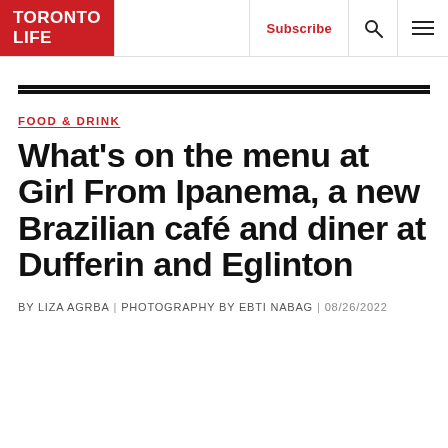TORONTO LIFE | Subscribe | Search | Menu
FOOD & DRINK
What's on the menu at Girl From Ipanema, a new Brazilian café and diner at Dufferin and Eglinton
BY LIZA AGRBA | PHOTOGRAPHY BY EBTI NABAG | 08/26/2022